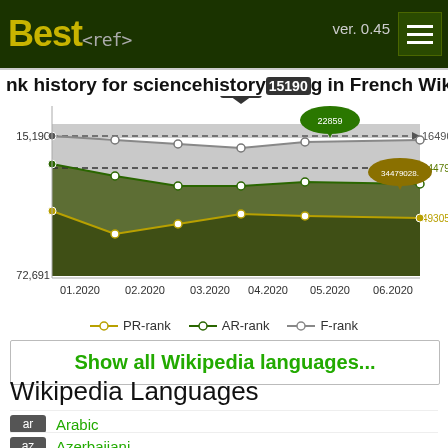Best<ref>  ver. 0.45
nk history for sciencehistory_ng in French Wikipe
[Figure (line-chart): Rank history for sciencehistory_ng in French Wikipedia]
PR-rank   AR-rank   F-rank
Show all Wikipedia languages...
Wikipedia Languages
ar  Arabic
az  Azerbaijani